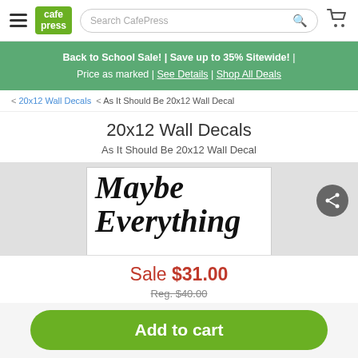CafePress | Search CafePress
Back to School Sale! | Save up to 35% Sitewide! | Price as marked | See Details | Shop All Deals
< 20x12 Wall Decals < As It Should Be 20x12 Wall Decal
20x12 Wall Decals
As It Should Be 20x12 Wall Decal
[Figure (photo): Product image of wall decal showing text 'Maybe Everything' in large italic bold font on white background]
Sale $31.00
Reg. $40.00
Add to cart